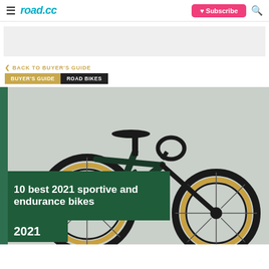road.cc | Subscribe
[Figure (other): Advertisement banner placeholder]
< BACK TO BUYER'S GUIDE
BUYER'S GUIDE   ROAD BIKES
[Figure (photo): Hero image of a dark green Specialized S-Works road bike with tan tires on a light grey background, with text overlay reading '10 best 2021 sportive and endurance bikes 2021']
10 best 2021 sportive and endurance bikes 2021